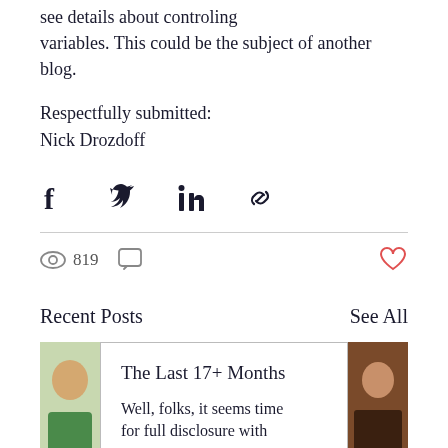see details about controling variables. This could be the subject of another blog.
Respectfully submitted:
Nick Drozdoff
[Figure (infographic): Social share icons: Facebook, Twitter, LinkedIn, Link]
819 views, comment icon, heart/like icon
Recent Posts
See All
[Figure (photo): Thumbnail photo of a person on the left side]
The Last 17+ Months
Well, folks, it seems time for full disclosure with
[Figure (photo): Thumbnail photo on the right side]